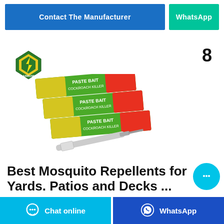[Figure (screenshot): Blue 'Contact The Manufacturer' button and teal 'WhatsApp' button side by side at top]
[Figure (photo): Arrow brand logo - green diamond shape with lightning bolt and 'ARROW' text]
8
[Figure (photo): Three green Arrow brand 'Paste Bait' cockroach bait tubes stacked, with a syringe in front]
Best Mosquito Repellents for Yards. Patios and Decks ...
[Figure (other): Teal circular chat bubble button with ellipsis icon]
[Figure (screenshot): Bottom bar with 'Chat online' (blue) and 'WhatsApp' (dark blue) buttons with icons]